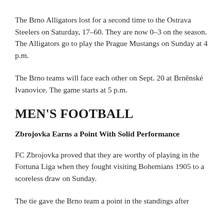The Brno Alligators lost for a second time to the Ostrava Steelers on Saturday, 17-60. They are now 0-3 on the season. The Alligators go to play the Prague Mustangs on Sunday at 4 p.m.
The Brno teams will face each other on Sept. 20 at Brněnské Ivanovice. The game starts at 5 p.m.
MEN'S FOOTBALL
Zbrojovka Earns a Point With Solid Performance
FC Zbrojovka proved that they are worthy of playing in the Fortuna Liga when they fought visiting Bohemians 1905 to a scoreless draw on Sunday.
The tie gave the Brno team a point in the standings after